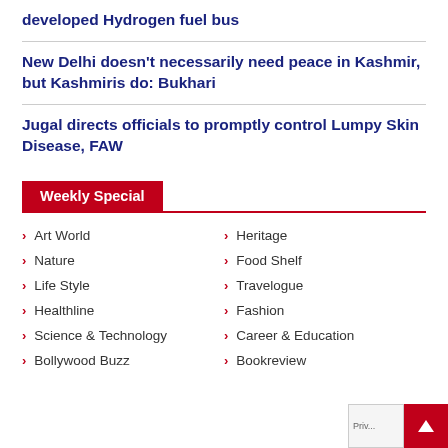developed Hydrogen fuel bus
New Delhi doesn't necessarily need peace in Kashmir, but Kashmiris do: Bukhari
Jugal directs officials to promptly control Lumpy Skin Disease, FAW
Weekly Special
Art World
Nature
Life Style
Healthline
Science & Technology
Bollywood Buzz
Heritage
Food Shelf
Travelogue
Fashion
Career & Education
Bookreview